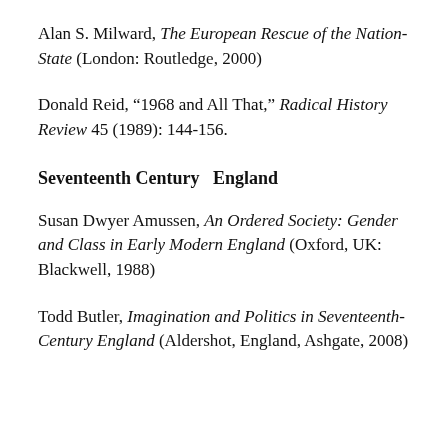Alan S. Milward, The European Rescue of the Nation-State (London: Routledge, 2000)
Donald Reid, “1968 and All That,” Radical History Review 45 (1989): 144-156.
Seventeenth Century  England
Susan Dwyer Amussen, An Ordered Society: Gender and Class in Early Modern England (Oxford, UK: Blackwell, 1988)
Todd Butler, Imagination and Politics in Seventeenth-Century England (Aldershot, England, Ashgate, 2008)